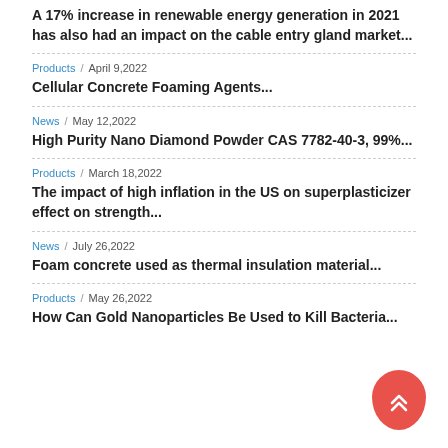A 17% increase in renewable energy generation in 2021 has also had an impact on the cable entry gland market...
Products / April 9,2022
Cellular Concrete Foaming Agents...
News / May 12,2022
High Purity Nano Diamond Powder CAS 7782-40-3, 99%...
Products / March 18,2022
The impact of high inflation in the US on superplasticizer effect on strength...
News / July 26,2022
Foam concrete used as thermal insulation material...
Products / May 26,2022
How Can Gold Nanoparticles Be Used to Kill Bacteria...